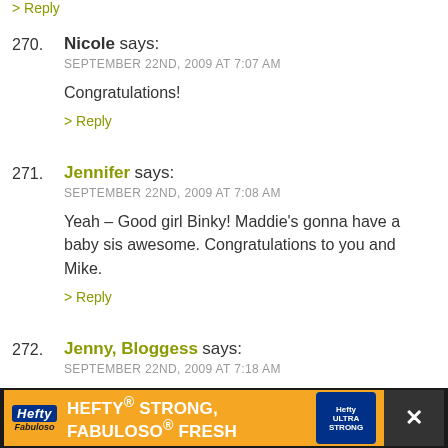> Reply
270. Nicole says:
SEPTEMBER 22ND, 2009 AT 7:07 AM
Congratulations!
> Reply
271. Jennifer says:
SEPTEMBER 22ND, 2009 AT 7:08 AM
Yeah – Good girl Binky! Maddie's gonna have a baby sis awesome. Congratulations to you and Mike.
> Reply
272. Jenny, Bloggess says:
SEPTEMBER 22ND, 2009 AT 7:18 AM
Yeehaw!
.-= Jenny, Bloggess's last blog ..Happy Vomit Day, y'all =
> Reply
[Figure (other): Advertisement banner: Hefty STRONG, FABULOSO FRESH product ad on dark background]